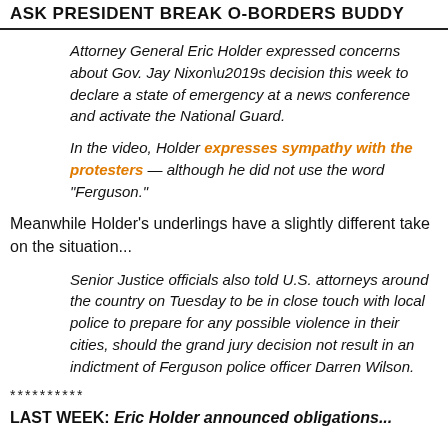ASK PRESIDENT BREAK O-BORDERS BUDDY
Attorney General Eric Holder expressed concerns about Gov. Jay Nixon’s decision this week to declare a state of emergency at a news conference and activate the National Guard.
In the video, Holder expresses sympathy with the protesters — although he did not use the word “Ferguson.”
Meanwhile Holder’s underlings have a slightly different take on the situation...
Senior Justice officials also told U.S. attorneys around the country on Tuesday to be in close touch with local police to prepare for any possible violence in their cities, should the grand jury decision not result in an indictment of Ferguson police officer Darren Wilson.
**********
LAST WEEK: Eric Holder announced obligations...